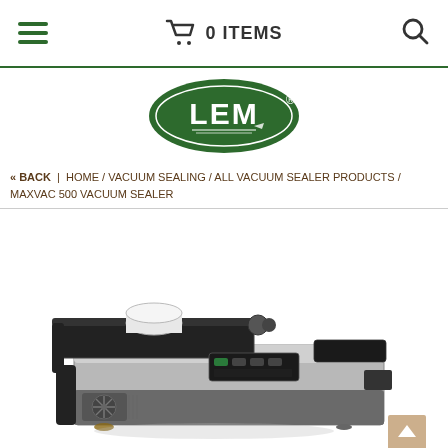≡  0 ITEMS  🔍
[Figure (logo): LEM brand logo — green oval with white LEM text and registered trademark symbol]
« BACK | HOME / VACUUM SEALING / ALL VACUUM SEALER PRODUCTS / MAXVAC 500 VACUUM SEALER
[Figure (photo): MaxVac 500 Vacuum Sealer machine — silver and black countertop vacuum sealer with roll holder on top, control panel in middle, and ventilation fan on left side front]